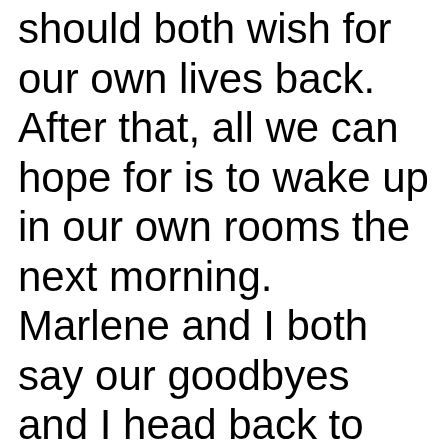should both wish for our own lives back. After that, all we can hope for is to wake up in our own rooms the next morning. Marlene and I both say our goodbyes and I head back to the house. I know that there is